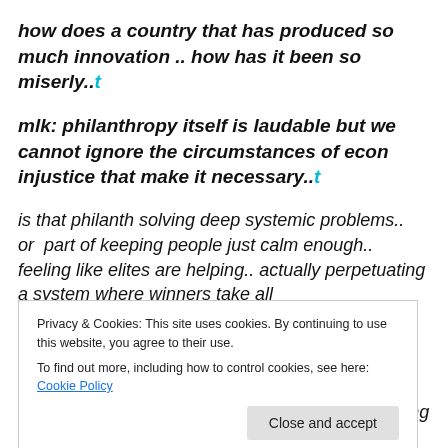how does a country that has produced so much innovation .. how has it been so miserly..t
mlk: philanthropy itself is laudable but we cannot ignore the circumstances of econ injustice that make it necessary..t
is that philanth solving deep systemic problems.. or  part of keeping people just calm enough.. feeling like elites are helping.. actually perpetuating a system where winners take all
Privacy & Cookies: This site uses cookies. By continuing to use this website, you agree to their use. To find out more, including how to control cookies, see here: Cookie Policy
Close and accept
no change worth having comes w privileged tossing a few